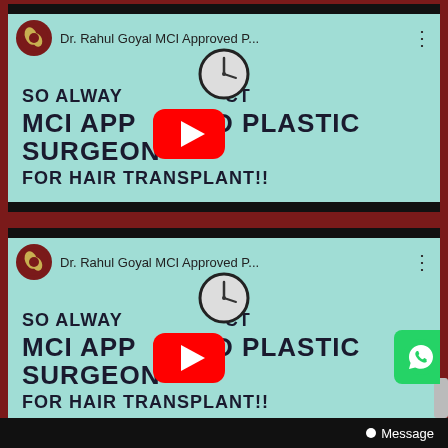[Figure (screenshot): Screenshot of a YouTube video thumbnail showing two repeated video cards for 'Dr. Rahul Goyal MCI Approved P...' channel. Each card has a teal/mint background with text: 'SO ALWAYS [SELECT] MCI APPROVED PLASTIC SURGEON FOR HAIR TRANSPLANT!!' overlaid with a YouTube play button and a clock graphic. A WhatsApp icon appears in the bottom-right of the second card. A 'Message' bar appears at the very bottom.]